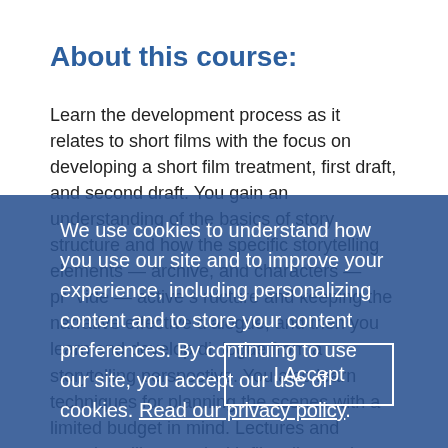About this course:
Learn the development process as it relates to short films with the focus on developing a short film treatment, first draft, and second draft. You gain an understanding of the basics of story structure and how the specific storytelling elements — archive, and characters — provide — — along with keeping the narrative effective structure, and then you learn and develop dialogue from a storytelling perspective. You also learn techniques for planning the scenes with a limited budget in mind. Lectures and exercises illustrated with film clips and readings emphasize the role of story, creating original characters, developing plot points for different types of short films. You submit your work in-progress throughout the quarter for evaluation and feedback by the instructor and the class. At the
We use cookies to understand how you use our site and to improve your experience, including personalizing content and to store your content preferences. By continuing to use our site, you accept our use of cookies. Read our privacy policy.
I Accept